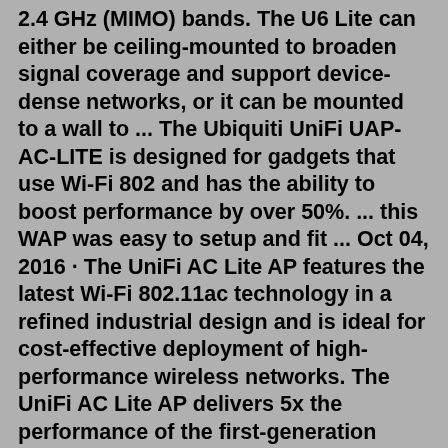2.4 GHz (MIMO) bands. The U6 Lite can either be ceiling-mounted to broaden signal coverage and support device-dense networks, or it can be mounted to a wall to ... The Ubiquiti UniFi UAP-AC-LITE is designed for gadgets that use Wi-Fi 802 and has the ability to boost performance by over 50%. ... this WAP was easy to setup and fit ... Oct 04, 2016 · The UniFi AC Lite AP features the latest Wi-Fi 802.11ac technology in a refined industrial design and is ideal for cost-effective deployment of high-performance wireless networks. The UniFi AC Lite AP delivers 5x the performance of the first-generation UniFi AP while still maintaining Ubiquiti's disruptive pricing strategy. UAP-AC-LITE Featuring an ultra-compact design, the UniFi AC Lite AP delivers a cost-effective combination of value and performance in a reduced footprint: 25% smaller than the standard UniFi AP. The UniFi AC Lite AP provides simultaneous, dual-band, 2×2 MIMO technology. UAP-AC-LITE Specifications Easy Upgrade Scripts for Ubuntu Linux Bing Release Notes UniFi Security Main ...